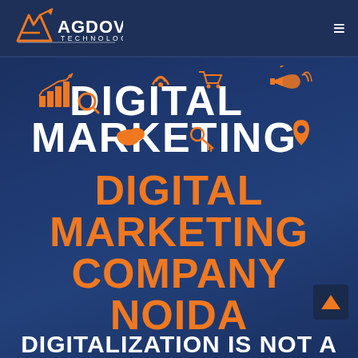AGDOVA TECHNOLOGIES
[Figure (logo): Agdova Technologies logo with stylized A and star, white and orange on dark navy background]
[Figure (infographic): Digital Marketing graphic with large white bold text DIGITAL MARKETING decorated with orange icons: bar chart, WiFi signal, shopping cart, megaphone, search magnifier, cloud, key, location pin, arrow]
DIGITAL MARKETING COMPANY NOIDA
DIGITALIZATION IS NOT A